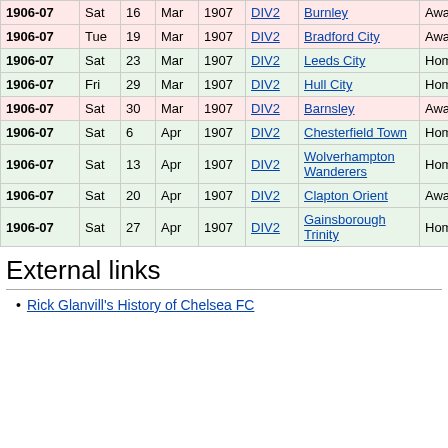| Season | Day | Date | Mon | Year | Comp | Opponent | H/A | Result |
| --- | --- | --- | --- | --- | --- | --- | --- | --- |
| 1906-07 | Sat | 16 | Mar | 1907 | DIV2 | Burnley | Away | Dre... |
| 1906-07 | Tue | 19 | Mar | 1907 | DIV2 | Bradford City | Away | Lost |
| 1906-07 | Sat | 23 | Mar | 1907 | DIV2 | Leeds City | Home | Wor... |
| 1906-07 | Fri | 29 | Mar | 1907 | DIV2 | Hull City | Home | Wor... |
| 1906-07 | Sat | 30 | Mar | 1907 | DIV2 | Barnsley | Away | Lost |
| 1906-07 | Sat | 6 | Apr | 1907 | DIV2 | Chesterfield Town | Home | Wor... |
| 1906-07 | Sat | 13 | Apr | 1907 | DIV2 | Wolverhampton Wanderers | Home | Wor... |
| 1906-07 | Sat | 20 | Apr | 1907 | DIV2 | Clapton Orient | Away | Wor... |
| 1906-07 | Sat | 27 | Apr | 1907 | DIV2 | Gainsborough Trinity | Home | Wor... |
External links
Rick Glanvill's History of Chelsea FC